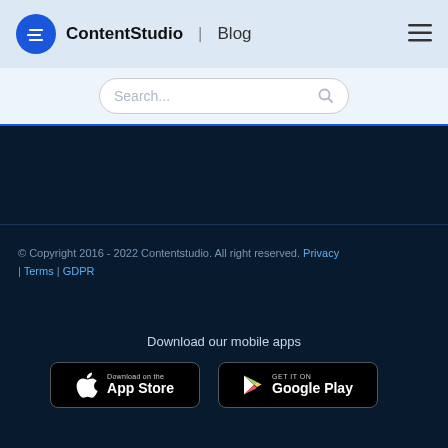ContentStudio | Blog
Search...
© Copyright 2016 - 2022 Contentstudio. All right reserved. Privacy | Terms | GDPR
Download our mobile apps
[Figure (logo): Download on the App Store button]
[Figure (logo): GET IT ON Google Play button]